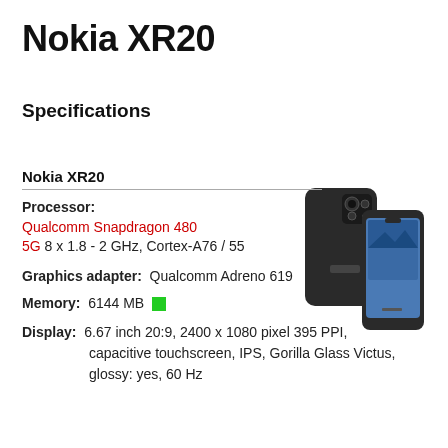Nokia XR20
Specifications
Nokia XR20
Processor: Qualcomm Snapdragon 480 5G 8 x 1.8 - 2 GHz, Cortex-A76 / 55
[Figure (photo): Nokia XR20 smartphone showing front and rear views]
Graphics adapter: Qualcomm Adreno 619
Memory: 6144 MB
Display: 6.67 inch 20:9, 2400 x 1080 pixel 395 PPI, capacitive touchscreen, IPS, Gorilla Glass Victus, glossy: yes, 60 Hz